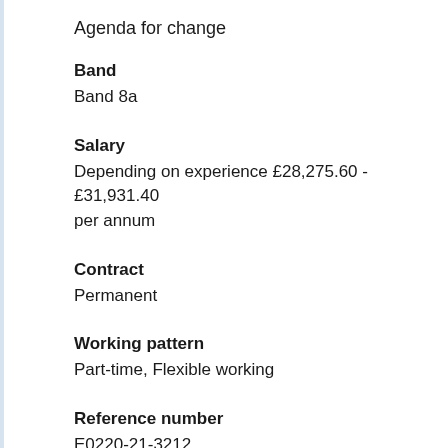Agenda for change
Band
Band 8a
Salary
Depending on experience £28,275.60 - £31,931.40 per annum
Contract
Permanent
Working pattern
Part-time, Flexible working
Reference number
E0220-21-3212